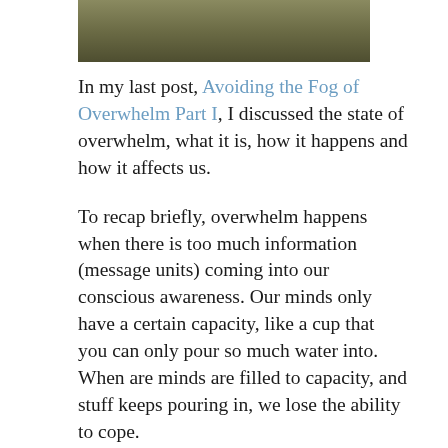[Figure (photo): Partial photograph visible at the top of the page, showing a dark olive/khaki toned image, cropped at the bottom edge.]
In my last post, Avoiding the Fog of Overwhelm Part I, I discussed the state of overwhelm, what it is, how it happens and how it affects us.
To recap briefly, overwhelm happens when there is too much information (message units) coming into our conscious awareness. Our minds only have a certain capacity, like a cup that you can only pour so much water into. When are minds are filled to capacity, and stuff keeps pouring in, we lose the ability to cope.
At this point, our ancient survival mechanism, that good old fight or flight, gets triggered. When that happens we become what is known as “hypersuggestible” which means that we are susceptible to whatever is coming into our minds. We are actually in a state of hypnosis, but the suggestions we are giving ourselves are not